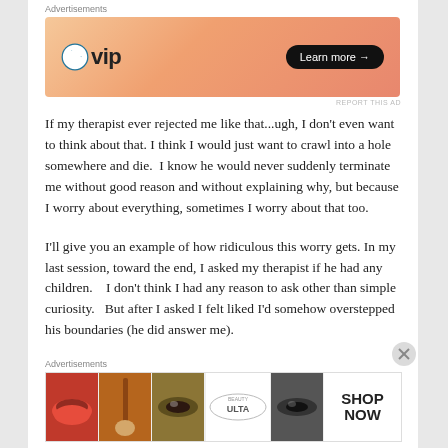[Figure (screenshot): WordPress VIP advertisement banner with orange gradient background, WP logo, 'vip' text, and 'Learn more →' button]
If my therapist ever rejected me like that...ugh, I don't even want to think about that. I think I would just want to crawl into a hole somewhere and die.  I know he would never suddenly terminate me without good reason and without explaining why, but because I worry about everything, sometimes I worry about that too.
I'll give you an example of how ridiculous this worry gets. In my last session, toward the end, I asked my therapist if he had any children.    I don't think I had any reason to ask other than simple curiosity.   But after I asked I felt liked I'd somehow overstepped his boundaries (he did answer me).
[Figure (screenshot): Ulta beauty advertisement banner with multiple close-up photos of lips, brushes, eyes, Ulta logo, and SHOP NOW text]